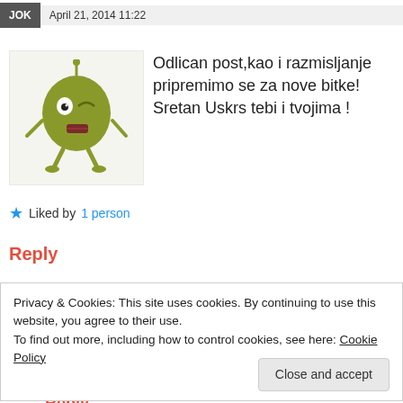April 21, 2019 11:22
👍 0 👎 0 ℹ Rate This
[Figure (illustration): Green cartoon monster avatar]
Odlican post,kao i razmisljanje pripremimo se za nove bitke! Sretan Uskrs tebi i tvojimas !
★ Liked by 1 person
Reply
Mario Urlic   April 21, 2019 15:30
👍 1 👎 0 ℹ Rate This
Privacy & Cookies: This site uses cookies. By continuing to use this website, you agree to their use.
To find out more, including how to control cookies, see here: Cookie Policy
Close and accept
Reply